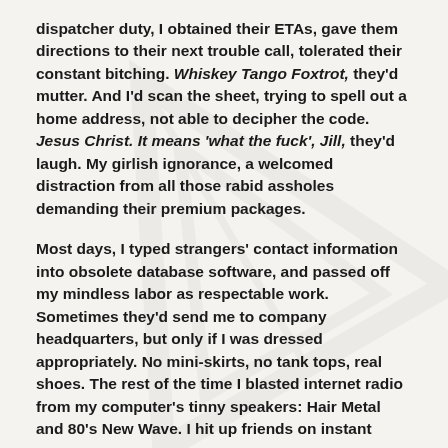dispatcher duty, I obtained their ETAs, gave them directions to their next trouble call, tolerated their constant bitching. Whiskey Tango Foxtrot, they'd mutter. And I'd scan the sheet, trying to spell out a home address, not able to decipher the code. Jesus Christ. It means 'what the fuck', Jill, they'd laugh. My girlish ignorance, a welcomed distraction from all those rabid assholes demanding their premium packages.
Most days, I typed strangers' contact information into obsolete database software, and passed off my mindless labor as respectable work. Sometimes they'd send me to company headquarters, but only if I was dressed appropriately. No mini-skirts, no tank tops, real shoes. The rest of the time I blasted internet radio from my computer's tinny speakers: Hair Metal and 80's New Wave. I hit up friends on instant messenger,